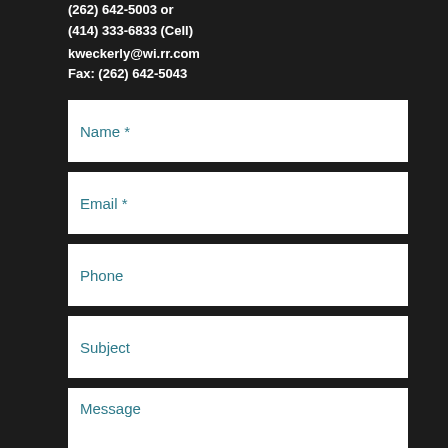(262) 642-5003 or
(414) 333-6833 (Cell)
kweckerly@wi.rr.com
Fax: (262) 642-5043
Name *
Email *
Phone
Subject
Message